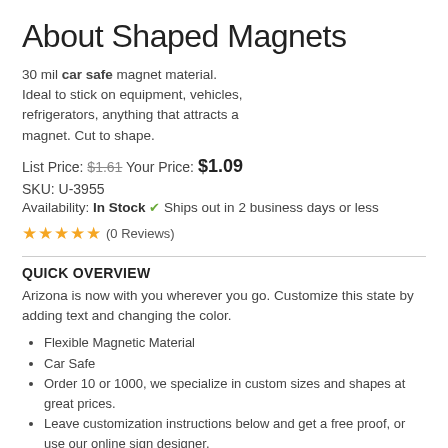About Shaped Magnets
30 mil car safe magnet material. Ideal to stick on equipment, vehicles, refrigerators, anything that attracts a magnet. Cut to shape.
List Price: $1.61 Your Price: $1.09
SKU: U-3955
Availability: In Stock ✔ Ships out in 2 business days or less
★★★★★ (0 Reviews)
QUICK OVERVIEW
Arizona is now with you wherever you go. Customize this state by adding text and changing the color.
Flexible Magnetic Material
Car Safe
Order 10 or 1000, we specialize in custom sizes and shapes at great prices.
Leave customization instructions below and get a free proof, or use our online sign designer.